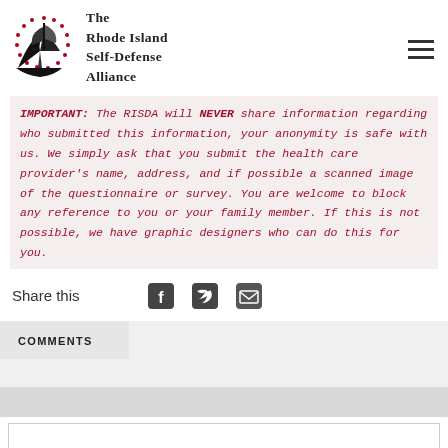[Figure (logo): Rhode Island Self-Defense Alliance logo with ship and text]
IMPORTANT: The RISDA will NEVER share information regarding who submitted this information, your anonymity is safe with us. We simply ask that you submit the health care provider's name, address, and if possible a scanned image of the questionnaire or survey. You are welcome to block any reference to you or your family member. If this is not possible, we have graphic designers who can do this for you.
Share this
COMMENTS